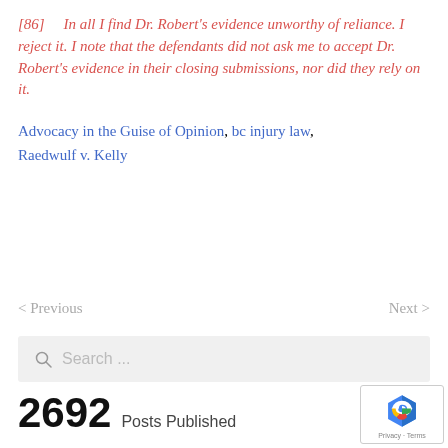[86]   In all I find Dr. Robert's evidence unworthy of reliance. I reject it. I note that the defendants did not ask me to accept Dr. Robert's evidence in their closing submissions, nor did they rely on it.
Advocacy in the Guise of Opinion, bc injury law, Raedwulf v. Kelly
< Previous    Next >
Search ...
2692 Posts Published